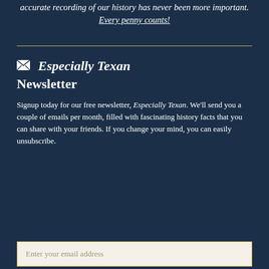accurate recording of our history has never been more important. Every penny counts!
Especially Texan Newsletter
Signup today for our free newsletter, Especially Texan. We'll send you a couple of emails per month, filled with fascinating history facts that you can share with your friends. If you change your mind, you can easily unsubscribe.
Enter your email address